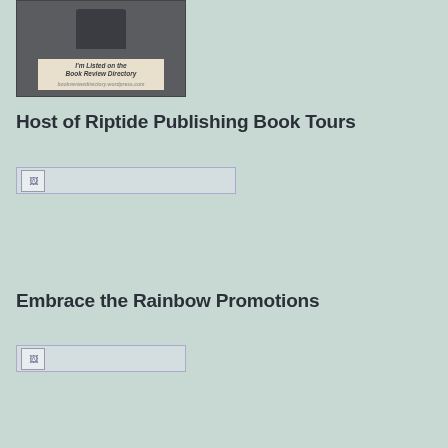[Figure (illustration): Book Review Directory badge/shield image with text 'I'm Listed on the Book Review Directory' and URL bookreviewdirectory.wordpress.com]
Host of Riptide Publishing Book Tours
[Figure (other): Broken/missing image placeholder for Riptide Publishing Book Tours]
Embrace the Rainbow Promotions
[Figure (other): Broken/missing image placeholder for Embrace the Rainbow Promotions]